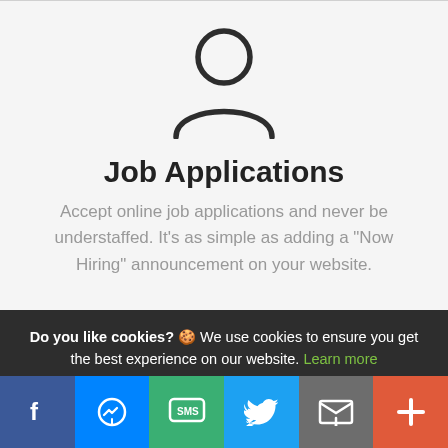[Figure (illustration): Person/user silhouette icon outline in dark gray, showing a circle for the head and rounded shoulders shape below]
Job Applications
Accept online job applications and never be understaffed. It's as simple as adding a "Now Hiring" announcement on your website.
Do you like cookies? 🍪 We use cookies to ensure you get the best experience on our website. Learn more
I AGREE
[Figure (infographic): Social sharing bar at the bottom with six colored icon buttons: Facebook (dark blue), Messenger (blue), SMS (green), Twitter (light blue), Email/mail (gray), More/plus (orange-red)]